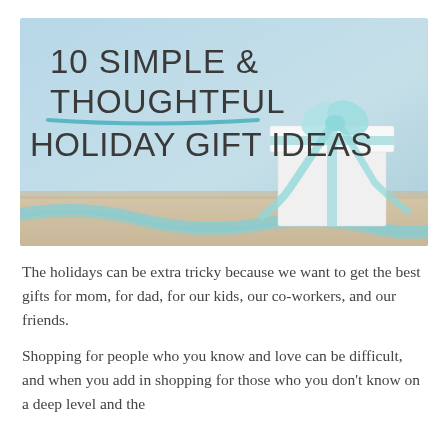[Figure (photo): Hero image with light blue background showing a white gift box wrapped with a teal/aqua ribbon and bow, ribbon flowing across bottom. Overlaid text title: '10 SIMPLE & THOUGHTFUL HOLIDAY GIFT IDEAS' with a teal underline accent beneath 'THOUGHTFUL'.]
The holidays can be extra tricky because we want to get the best gifts for mom, for dad, for our kids, our co-workers, and our friends.
Shopping for people who you know and love can be difficult, and when you add in shopping for those who you don't know on a deep level and the